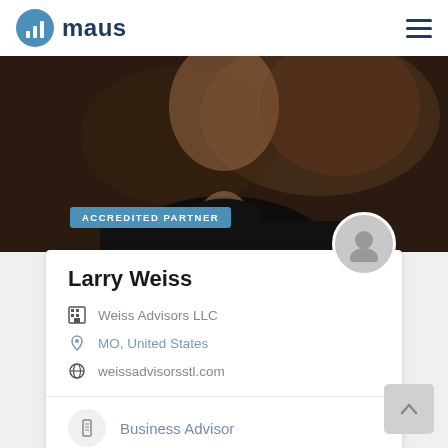maus
[Figure (photo): Portrait photo of a person in a dark blazer against a dark background, cropped to show upper body and face area. An 'ACCREDITED PARTNER' badge overlays the lower portion of the photo.]
Larry Weiss
Weiss Advisors LLC
MO, United States
weissadvisorsstl.com
Business Advisor